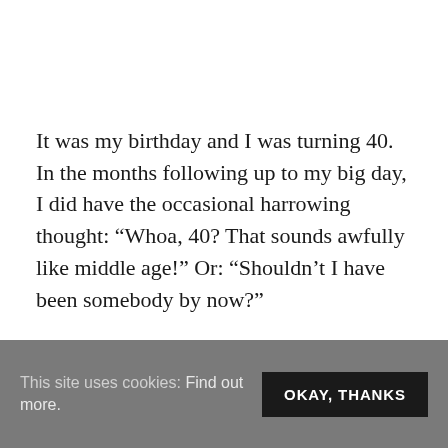It was my birthday and I was turning 40. In the months following up to my big day, I did have the occasional harrowing thought: “Whoa, 40? That sounds awfully like middle age!” Or: “Shouldn’t I have been somebody by now?”
This site uses cookies: Find out more. OKAY, THANKS